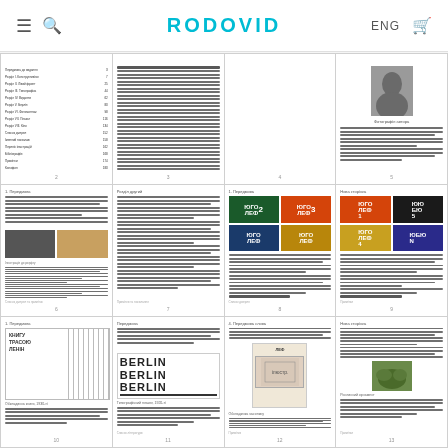RODOVID
[Figure (screenshot): Grid of 12 book/publication page thumbnails showing a publication about Russian constructivist typography and art, with Cyrillic text pages, magazine covers (Юго-ЛЕФ), book covers, and Berlin poster typography]
ENG